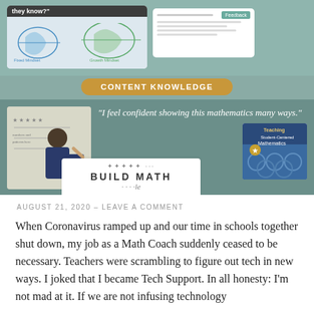[Figure (screenshot): Educational infographic showing brain diagrams, a 'Content Knowledge' banner, a child writing on a whiteboard, a quote about mathematics, a book cover for 'Teaching Student-Centered Mathematics', and a 'Build Math' card with star ratings.]
AUGUST 21, 2020  -  LEAVE A COMMENT
When Coronavirus ramped up and our time in schools together shut down, my job as a Math Coach suddenly ceased to be necessary. Teachers were scrambling to figure out tech in new ways. I joked that I became Tech Support. In all honesty: I'm not mad at it. If we are not infusing technology